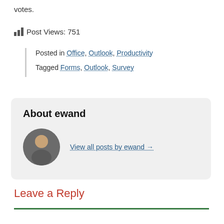votes.
Post Views: 751
Posted in Office, Outlook, Productivity
Tagged Forms, Outlook, Survey
About ewand
[Figure (photo): Circular avatar photo of a man]
View all posts by ewand →
Leave a Reply